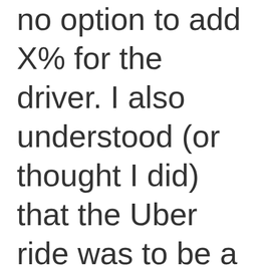no option to add X% for the driver. I also understood (or thought I did) that the Uber ride was to be a cashless and cardless